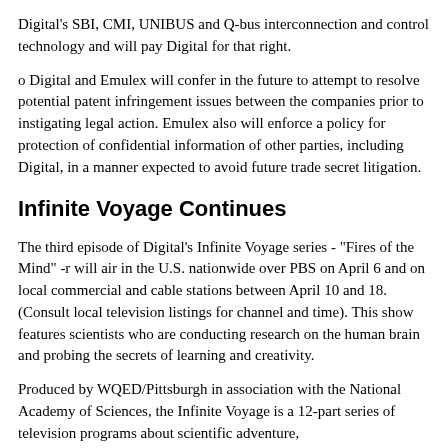Digital's SBI, CMI, UNIBUS and Q-bus interconnection and control technology and will pay Digital for that right.
o Digital and Emulex will confer in the future to attempt to resolve potential patent infringement issues between the companies prior to instigating legal action. Emulex also will enforce a policy for protection of confidential information of other parties, including Digital, in a manner expected to avoid future trade secret litigation.
Infinite Voyage Continues
The third episode of Digital's Infinite Voyage series - "Fires of the Mind" -r will air in the U.S. nationwide over PBS on April 6 and on local commercial and cable stations between April 10 and 18. (Consult local television listings for channel and time). This show features scientists who are conducting research on the human brain and probing the secrets of learning and creativity.
Produced by WQED/Pittsburgh in association with the National Academy of Sciences, the Infinite Voyage is a 12-part series of television programs about scientific adventure,
exploration and discovery. The programs are underwritten on public television and sponsored on commercial television by